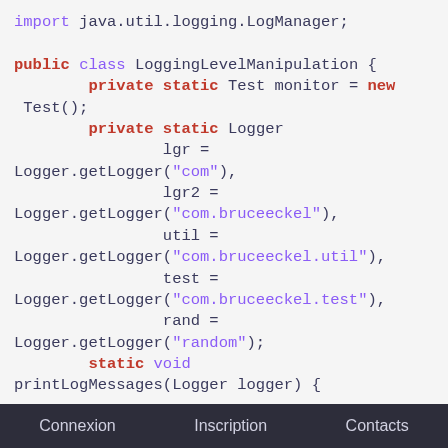[Figure (screenshot): Java source code screenshot showing LoggingLevelManipulation class with Logger declarations and printLogMessages method]
Connexion    Inscription    Contacts